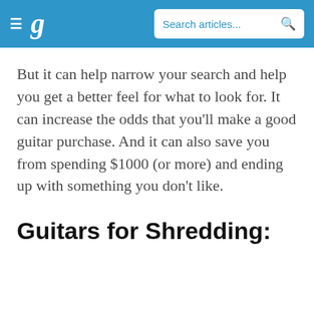g  Search articles...
But it can help narrow your search and help you get a better feel for what to look for. It can increase the odds that you'll make a good guitar purchase. And it can also save you from spending $1000 (or more) and ending up with something you don't like.
Guitars for Shredding: